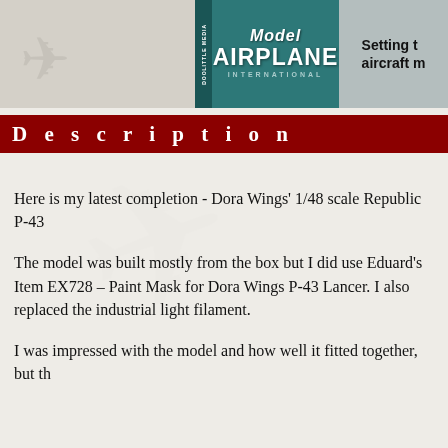[Figure (logo): Model Airplane International magazine header logo with teal/dark background, white text reading 'Model AIRPLANE INTERNATIONAL', alongside 'Setting t... aircraft m...' text on grey background]
D e s c r i p t i o n
Here is my latest completion - Dora Wings' 1/48 scale Republic P-43
The model was built mostly from the box but I did use Eduard's Item EX728 – Paint Mask for Dora Wings P-43 Lancer. I also replaced the industrial light filament.
I was impressed with the model and how well it fitted together, but th